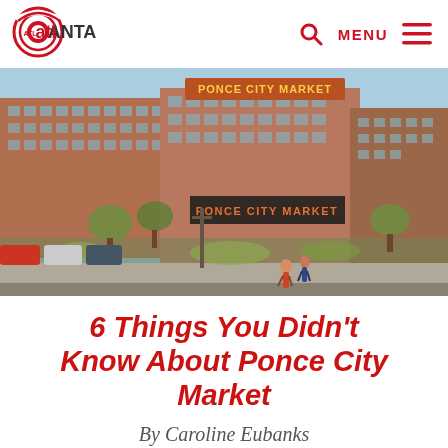ATLANTA | MENU
[Figure (photo): Exterior photo of Ponce City Market, a large brick building with orange PONCE CITY MARKET signage. People walking in foreground, cars parked on left, trees and landscaping visible.]
6 Things You Didn't Know About Ponce City Market
By Caroline Eubanks